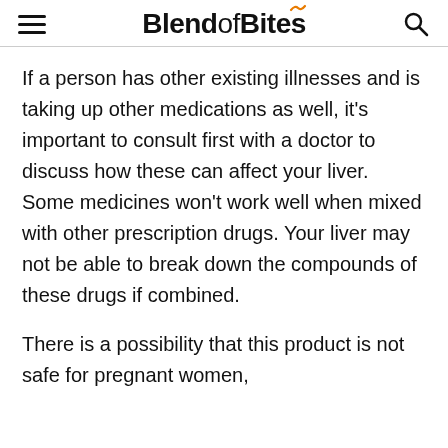BlendofBites
If a person has other existing illnesses and is taking up other medications as well, it's important to consult first with a doctor to discuss how these can affect your liver. Some medicines won't work well when mixed with other prescription drugs. Your liver may not be able to break down the compounds of these drugs if combined.
There is a possibility that this product is not safe for pregnant women, breastfeeding mothers, and children since